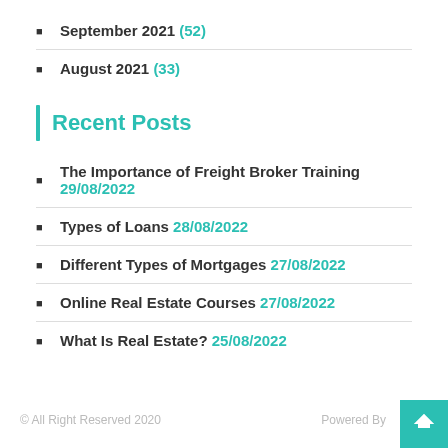September 2021 (52)
August 2021 (33)
Recent Posts
The Importance of Freight Broker Training 29/08/2022
Types of Loans 28/08/2022
Different Types of Mortgages 27/08/2022
Online Real Estate Courses 27/08/2022
What Is Real Estate? 25/08/2022
© All Right Reserved 2020   Powered By